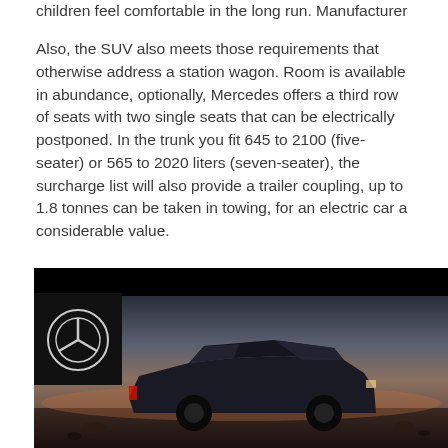children feel comfortable in the long run. Manufacturer
Also, the SUV also meets those requirements that otherwise address a station wagon. Room is available in abundance, optionally, Mercedes offers a third row of seats with two single seats that can be electrically postponed. In the trunk you fit 645 to 2100 (five-seater) or 565 to 2020 liters (seven-seater), the surcharge list will also provide a trailer coupling, up to 1.8 tonnes can be taken in towing, for an electric car a considerable value.
[Figure (photo): Mercedes-Benz SUV electric car photographed at dusk/twilight with the Mercedes-Benz star logo visible in the lower left corner against a dark panel. The car is a dark-colored SUV shown in profile against a dramatic sky.]